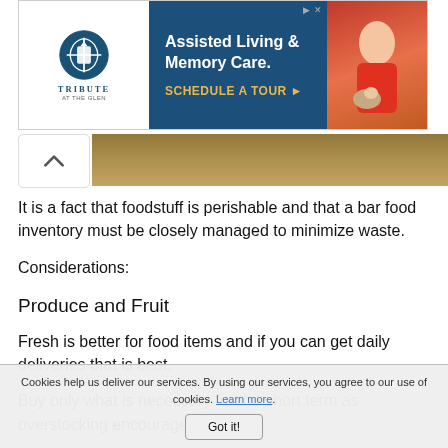[Figure (other): Advertisement banner for Tribute at the Glen - Assisted Living & Memory Care. Schedule a Tour. Features logo on white left side and dark blue right side with text and a photo of a person with a dog.]
It is a fact that foodstuff is perishable and that a bar food inventory must be closely managed to minimize waste.
Considerations:
Produce and Fruit
Fresh is better for food items and if you can get daily deliveries that is best.
Buy only what is necessary for the short term as overstocking encourages waste.
Use the produce as it is cut. Prepare bananas, apples and pears only as you need them, use citrus fruit within two days and strawberries the same day. Uncut citrus and apples can last as
Cookies help us deliver our services. By using our services, you agree to our use of cookies. Learn more. Got it!